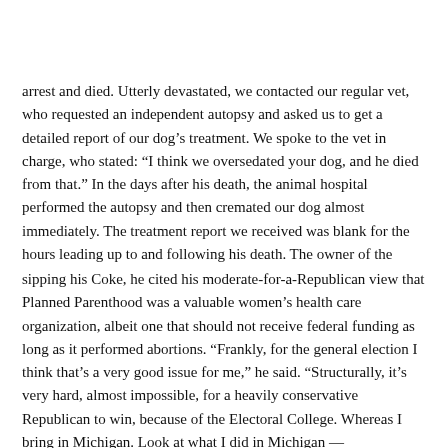arrest and died. Utterly devastated, we contacted our regular vet, who requested an independent autopsy and asked us to get a detailed report of our dog’s treatment. We spoke to the vet in charge, who stated: “I think we oversedated your dog, and he died from that.” In the days after his death, the animal hospital performed the autopsy and then cremated our dog almost immediately. The treatment report we received was blank for the hours leading up to and following his death. The owner of the
sipping his Coke, he cited his moderate-for-a-Republican view that Planned Parenthood was a valuable women’s health care organization, albeit one that should not receive federal funding as long as it performed abortions. “Frankly, for the general election I think that’s a very good issue for me,” he said. “Structurally, it’s very hard, almost impossible, for a heavily conservative Republican to win, because of the Electoral College. Whereas I bring in Michigan. Look at what I did in Michigan —